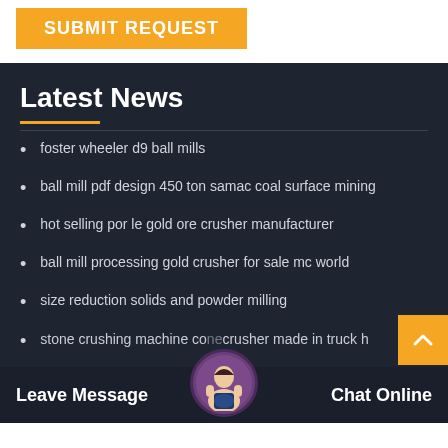[Figure (other): Orange SUBMIT REQUEST button on white background]
Latest News
foster wheeler d9 ball mills
ball mill pdf design 450 ton samac coal surface mining
hot selling por le gold ore crusher manufacturer
ball mill processing gold crusher for sale mc world
size reduction solids and powder milling
stone crushing machine cone crusher made in truck h
crusher machines from kenya
Leave Message  Chat Online